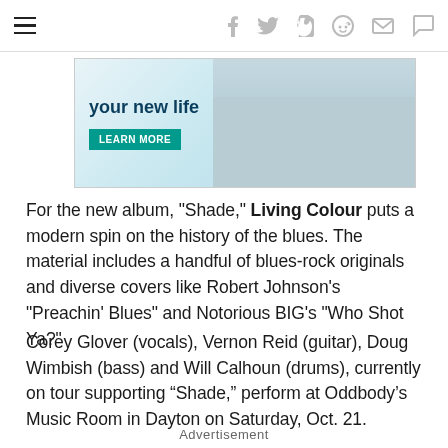Navigation bar with hamburger menu and social icons: f (facebook), twitter, pinterest, reddit, mail, comment
[Figure (photo): Advertisement banner showing medical/healthcare scene with text 'your new life' and a 'LEARN MORE' button in teal]
For the new album, "Shade," Living Colour puts a modern spin on the history of the blues. The material includes a handful of blues-rock originals and diverse covers like Robert Johnson's "Preachin' Blues" and Notorious BIG's "Who Shot Ya?"
Corey Glover (vocals), Vernon Reid (guitar), Doug Wimbish (bass) and Will Calhoun (drums), currently on tour supporting “Shade,” perform at Oddbody’s Music Room in Dayton on Saturday, Oct. 21.
Advertisement